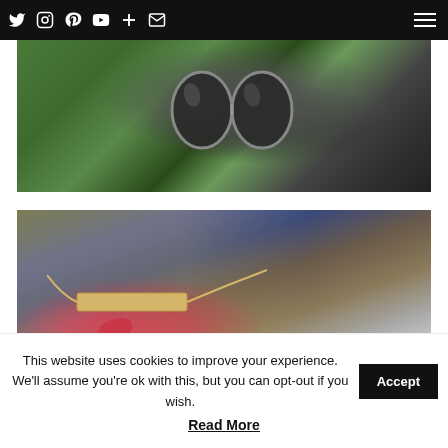Social media icons and navigation menu
[Figure (photo): Close-up of a person holding black Moschino sunglasses with red manicured nails, green foliage background, wearing a black Moschino top]
[Figure (photo): Close-up of a person with red manicured nails holding a gold bar necklace/accessory, blurred blue and purple background]
This website uses cookies to improve your experience. We'll assume you're ok with this, but you can opt-out if you wish. Accept
Read More